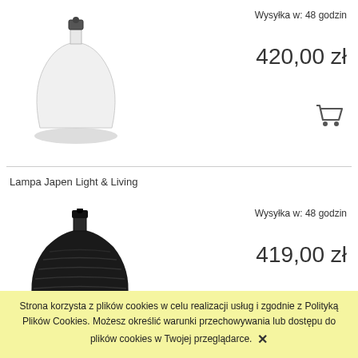[Figure (photo): White ceramic lamp base without shade, round bulbous shape with small metal socket on top]
Wysyłka w: 48 godzin
420,00 zł
[Figure (illustration): Shopping cart icon in dark gray]
Lampa Japen Light & Living
[Figure (photo): Black wicker/rattan lamp base, rounded dome shape with small black socket on top]
Wysyłka w: 48 godzin
419,00 zł
Strona korzysta z plików cookies w celu realizacji usług i zgodnie z Polityką Plików Cookies. Możesz określić warunki przechowywania lub dostępu do plików cookies w Twojej przeglądarce.